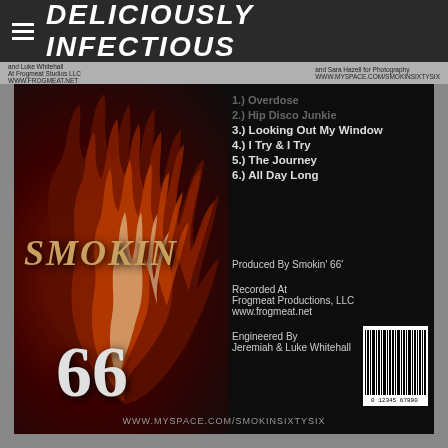DELICIOUSLY INFECTIOUS
and Luke Whitehall At Frogmeat Studios LLC WWW.FROGMEAT.NET | and Sara Hazell for Photography WWW.MYSPACE.COM/SMOKINSIXTYSIX
[Figure (photo): Back cover of Smokin 66 album showing flames graphic, SMOKIN 66 logo text, track listing, production credits, barcode, and website URL on dark background]
1.) Overdose
2.) Hip Disco Junkie
3.) Looking Out My Window
4.) I Try & I Try
5.) The Journey
6.) All Day Long
Produced By Smokin' 66'
Recorded At
Frogmeat Productions, LLC
www.frogmeat.net
Engineered By
Jeremiah & Luke Whitehall
WWW.MYSPACE.COM/SMOKINSIXTYSIX